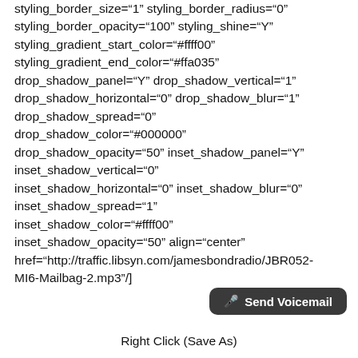styling_border_size="1" styling_border_radius="0" styling_border_opacity="100" styling_shine="Y" styling_gradient_start_color="#ffff00" styling_gradient_end_color="#ffa035" drop_shadow_panel="Y" drop_shadow_vertical="1" drop_shadow_horizontal="0" drop_shadow_blur="1" drop_shadow_spread="0" drop_shadow_color="#000000" drop_shadow_opacity="50" inset_shadow_panel="Y" inset_shadow_vertical="0" inset_shadow_horizontal="0" inset_shadow_blur="0" inset_shadow_spread="1" inset_shadow_color="#ffff00" inset_shadow_opacity="50" align="center" href="http://traffic.libsyn.com/jamesbondradio/JBR052-MI6-Mailbag-2.mp3"/]
Right Click (Save As)